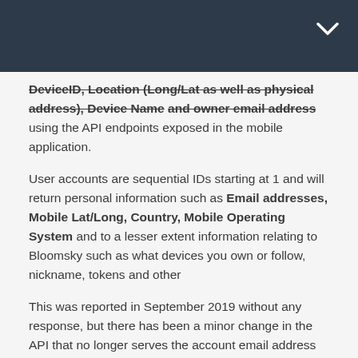DeviceID, Location (Long/Lat as well as physical address), Device Name and owner email address using the API endpoints exposed in the mobile application.
User accounts are sequential IDs starting at 1 and will return personal information such as Email addresses, Mobile Lat/Long, Country, Mobile Operating System and to a lesser extent information relating to Bloomsky such as what devices you own or follow, nickname, tokens and other
This was reported in September 2019 without any response, but there has been a minor change in the API that no longer serves the account email address associated with the device.